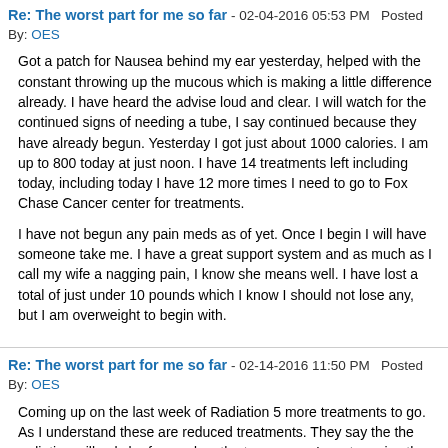Re: The worst part for me so far - 02-04-2016 05:53 PM   Posted By: OES
Got a patch for Nausea behind my ear yesterday, helped with the constant throwing up the mucous which is making a little difference already. I have heard the advise loud and clear. I will watch for the continued signs of needing a tube, I say continued because they have already begun. Yesterday I got just about 1000 calories. I am up to 800 today at just noon. I have 14 treatments left including today, including today I have 12 more times I need to go to Fox Chase Cancer center for treatments.
I have not begun any pain meds as of yet. Once I begin I will have someone take me. I have a great support system and as much as I call my wife a nagging pain, I know she means well. I have lost a total of just under 10 pounds which I know I should not lose any, but I am overweight to begin with.
Re: The worst part for me so far - 02-14-2016 11:50 PM   Posted By: OES
Coming up on the last week of Radiation 5 more treatments to go. As I understand these are reduced treatments. They say the the radiation will only be focused on the tumor now, I wont receive the one that is head on. Not sure I completely understand this, I only know as of my second treatment on last Friday I now have a shorter exposure to the radiation treatment. I have lost weight, as expected. probably about 13 lbs in total. I just need this thick saliva to stop, the Mucous is driving me crazy. I can deal with almost everything else so far but this.